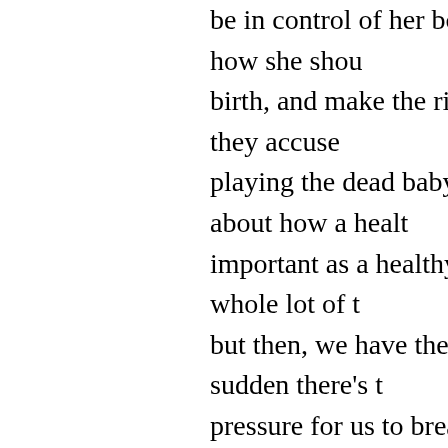be in control of her body. they talk about how she should birth, and make the right decisions for her. they accuse playing the dead baby card. they talk about how a health important as a healthy baby. I agree with a whole lot of t but then, we have the baby and all of a sudden there's th pressure for us to breastfeed. Our bodily autonomy is no need to sacrifice ourselves to breastfeed because it's be minute! why was I allowed to make the best decisions fo pregnant but now I'm no longer allowed. They don't play but they play the sick, fat, stupid baby/child card. Even i depressed, in constant pain, our babies are losing weigh child, or breastfeeding is causing emotional flashbacks t none of that matters because our baby is getting breast avoiding evil disgusting formula. And then if we truly trul enough milk (it's only 1% of us, right? hah!) we're either breastmilk of the internet and feed some stranger's bodi or buy a goat and concoct my own crazy brew in my kitc
and for all the talk about evidence based medicine?? No or no REPUTABLE breastfeeding study, has produced e unbelievably compelling that women should totally subli order to breastfeed. It's milk! it has great antibodies, and